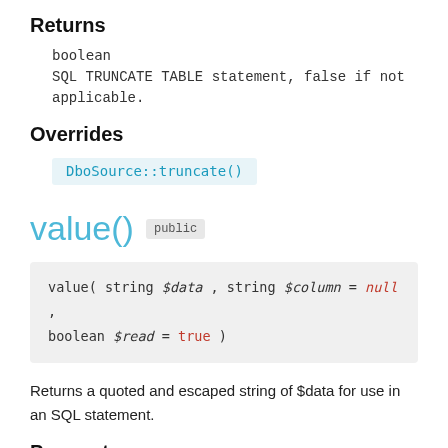Returns
boolean
SQL TRUNCATE TABLE statement, false if not applicable.
Overrides
DboSource::truncate()
value()  public
value( string $data , string $column = null , boolean $read = true )
Returns a quoted and escaped string of $data for use in an SQL statement.
Parameters